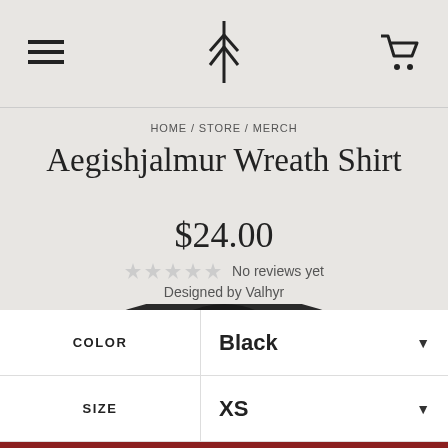≡ [logo] [cart]
HOME / STORE / MERCH
Aegishjalmur Wreath Shirt
$24.00
No reviews yet
Designed by Valhyr
[Figure (photo): Black t-shirt product photo, showing the collar and upper body of a dark heather black t-shirt against a light gray background]
| Label | Value |
| --- | --- |
| COLOR | Black |
| SIZE | XS |
+ ADD TO CART